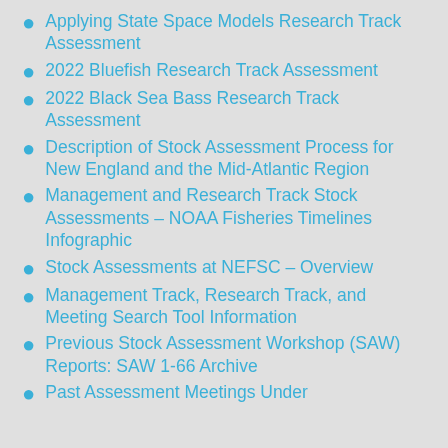Applying State Space Models Research Track Assessment
2022 Bluefish Research Track Assessment
2022 Black Sea Bass Research Track Assessment
Description of Stock Assessment Process for New England and the Mid-Atlantic Region
Management and Research Track Stock Assessments – NOAA Fisheries Timelines Infographic
Stock Assessments at NEFSC – Overview
Management Track, Research Track, and Meeting Search Tool Information
Previous Stock Assessment Workshop (SAW) Reports: SAW 1-66 Archive
Past Assessment Meetings Under